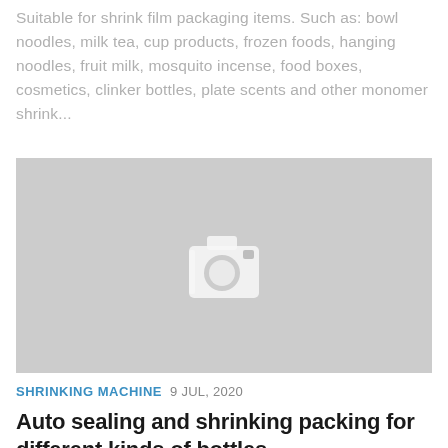Suitable for shrink film packaging items. Such as: bowl noodles, milk tea, cup products, frozen foods, hanging noodles, fruit milk, mosquito incense, food boxes, cosmetics, clinker bottles, plate scents and other monomer shrink...
[Figure (photo): Placeholder image with camera icon on grey background]
SHRINKING MACHINE  9 JUL, 2020
Auto sealing and shrinking packing for different kinds of bottles